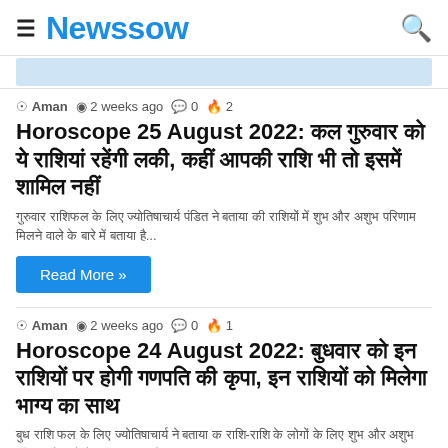Newssow
Aman  2 weeks ago  0  2
Horoscope 25 August 2022: कल गुरुवार को ये राशियां रहेंगी लकी, कहीं आपकी राशि भी तो इसमें शामिल नहीं
गुरुवार राशिफल के लिए ज्योतिषाचार्य पंडित ने बताया की राशियों में शुभ और अशुभ परिणाम मिलने वाले के बारे में बताया है...
Read More »
Aman  2 weeks ago  0  1
Horoscope 24 August 2022: बुधवार को इन राशियों पर होगी गणपति की कृपा, इन राशियों को मिलेगा भाग्य का साथ
बुध राशि फल के लिए ज्योतिषाचार्य ने बताया क राशि-राशि के लोगों के लिए शुभ और अशुभ परिणाम के बारे में जानकारी दी है...